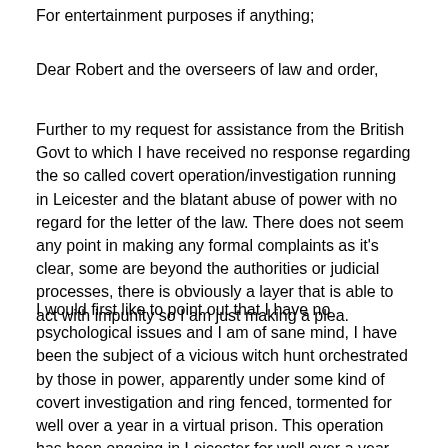For entertainment purposes if anything;
Dear Robert and the overseers of law and order,
Further to my request for assistance from the British Govt to which I have received no response regarding the so called covert operation/investigation running in Leicester and the blatant abuse of power with no regard for the letter of the law. There does not seem any point in making any formal complaints as it's clear, some are beyond the authorities or judicial processes, there is obviously a layer that is able to act with impunity so I am just making a plea.
I would first like to point out that I have no psychological issues and I am of sane mind, I have been the subject of a vicious witch hunt orchestrated by those in power, apparently under some kind of covert investigation and ring fenced, tormented for well over a year in a virtual prison. This operation has been ongoing in Leicester for well over a year now whereby human rights abuses have taken place, I have been tormented and they have tried to drive me to suicide by making my environment hell using text book "cointelpro" gangstalking tactics, it is far too large and